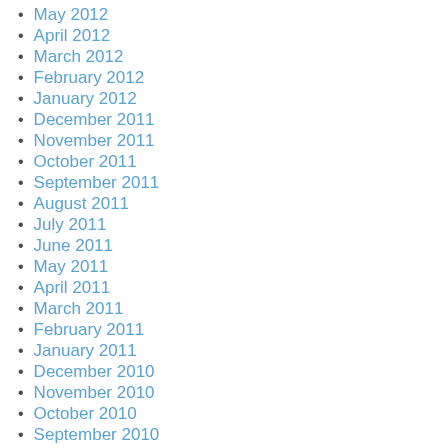May 2012
April 2012
March 2012
February 2012
January 2012
December 2011
November 2011
October 2011
September 2011
August 2011
July 2011
June 2011
May 2011
April 2011
March 2011
February 2011
January 2011
December 2010
November 2010
October 2010
September 2010